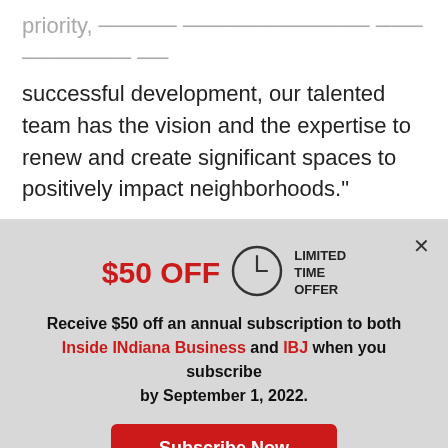successful development, our talented team has the vision and the expertise to renew and create significant spaces to positively impact neighborhoods."
$50 OFF LIMITED TIME OFFER
Receive $50 off an annual subscription to both Inside INdiana Business and IBJ when you subscribe by September 1, 2022.
Subscribe Now
Already a paid subscriber?
Log In